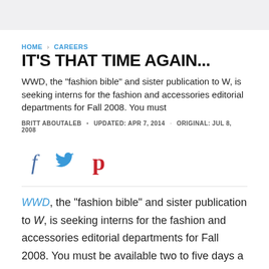HOME > CAREERS
IT'S THAT TIME AGAIN...
WWD, the "fashion bible" and sister publication to W, is seeking interns for the fashion and accessories editorial departments for Fall 2008. You must
BRITT ABOUTALEB • UPDATED: APR 7, 2014 · ORIGINAL: JUL 8, 2008
[Figure (infographic): Social sharing icons: Facebook (f), Twitter (bird), Pinterest (p)]
WWD, the "fashion bible" and sister publication to W, is seeking interns for the fashion and accessories editorial departments for Fall 2008. You must be available two to five days a week, from 10am to 6pm. You must be